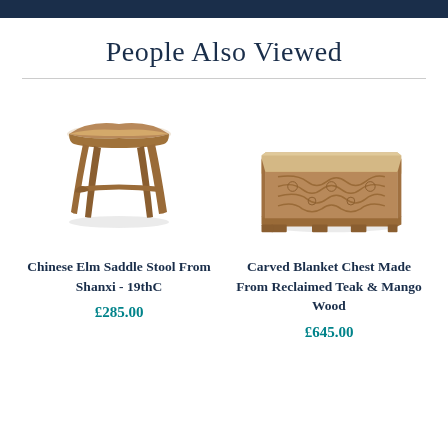People Also Viewed
[Figure (photo): Chinese elm wooden saddle stool with four angled legs and curved seat top, natural wood color, antique style]
Chinese Elm Saddle Stool From Shanxi - 19thC
£285.00
[Figure (photo): Carved blanket chest made from reclaimed teak and mango wood, rectangular box shape with ornate floral carved front panel and small feet]
Carved Blanket Chest Made From Reclaimed Teak & Mango Wood
£645.00